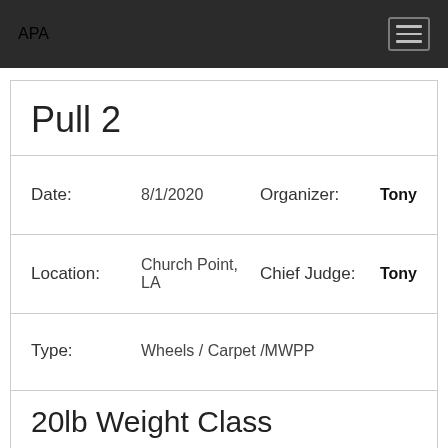APA
Pull 2
Date: 8/1/2020  Organizer: Tony
Location: Church Point, LA  Chief Judge: Tony
Type: Wheels / Carpet /MWPP
20lb Weight Class
| Place | Name | Handler | Weight | Pulled | Time | Perc. | Po |
| --- | --- | --- | --- | --- | --- | --- | --- |
20lb Weight Class